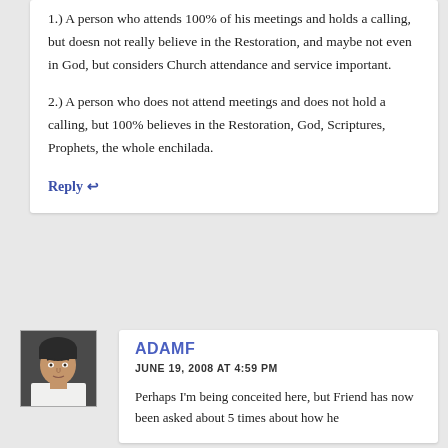1.) A person who attends 100% of his meetings and holds a calling, but doesn not really believe in the Restoration, and maybe not even in God, but considers Church attendance and service important.
2.) A person who does not attend meetings and does not hold a calling, but 100% believes in the Restoration, God, Scriptures, Prophets, the whole enchilada.
Reply ↩
[Figure (photo): Avatar photo of commenter ADAMF, showing a young man with dark hair]
ADAMF
JUNE 19, 2008 AT 4:59 PM
Perhaps I'm being conceited here, but Friend has now been asked about 5 times about how he